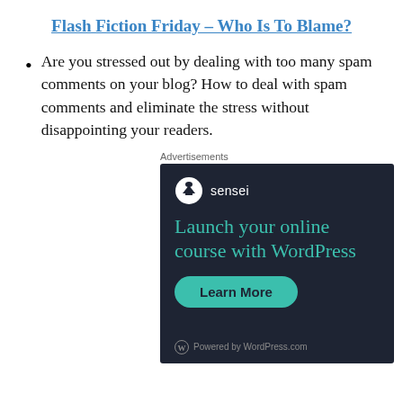Flash Fiction Friday – Who Is To Blame?
Are you stressed out by dealing with too many spam comments on your blog? How to deal with spam comments and eliminate the stress without disappointing your readers.
Advertisements
[Figure (infographic): Sensei advertisement banner with dark background. Shows Sensei logo (cloud/upload icon in white circle), tagline 'Launch your online course with WordPress' in teal, a 'Learn More' button in teal, and 'Powered by WordPress.com' footer.]